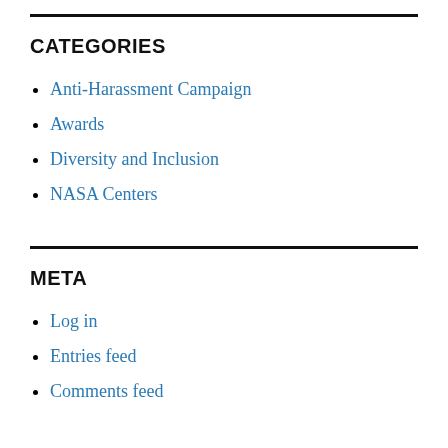CATEGORIES
Anti-Harassment Campaign
Awards
Diversity and Inclusion
NASA Centers
META
Log in
Entries feed
Comments feed